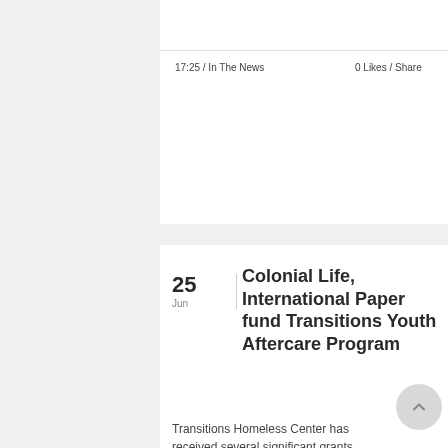17:25 / In The News
0  Likes / Share
Colonial Life, International Paper fund Transitions Youth Aftercare Program
25
Jun
Transitions Homeless Center has received several significant grants